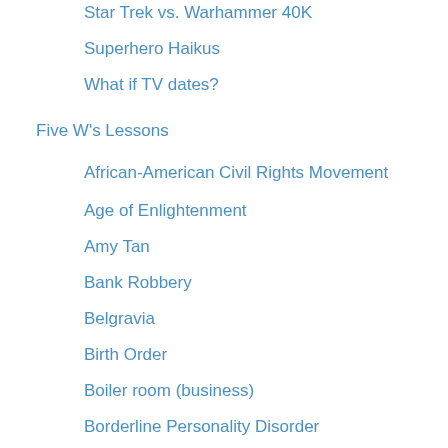Star Trek vs. Warhammer 40K
Superhero Haikus
What if TV dates?
Five W's Lessons
African-American Civil Rights Movement
Age of Enlightenment
Amy Tan
Bank Robbery
Belgravia
Birth Order
Boiler room (business)
Borderline Personality Disorder
Che Guevara
Christmas Elf
Cougar (slang)
Cryonics
Dog Fighting
Edith Wharton
Electroconvulsive Therapy
Elizabethan Era